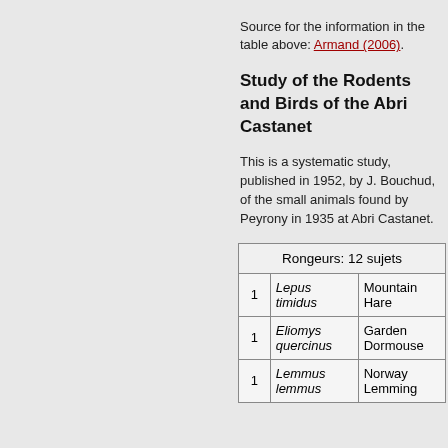Source for the information in the table above: Armand (2006).
Study of the Rodents and Birds of the Abri Castanet
This is a systematic study, published in 1952, by J. Bouchud, of the small animals found by Peyrony in 1935 at Abri Castanet.
|  | Rongeurs: 12 sujets |  |
| --- | --- | --- |
| 1 | Lepus timidus | Mountain Hare |
| 1 | Eliomys quercinus | Garden Dormouse |
| 1 | Lemmus lemmus | Norway Lemming |